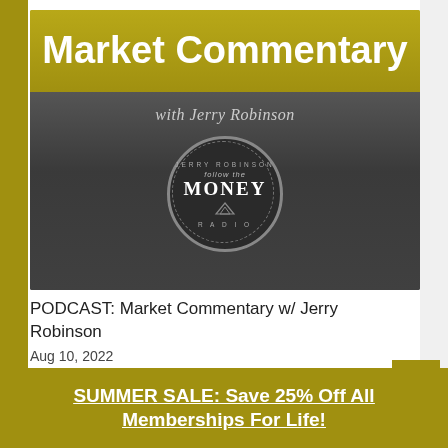[Figure (illustration): Market Commentary with Jerry Robinson banner image. Gold top section with white bold title 'Market Commentary', dark gray lower section with text 'with Jerry Robinson' and a circular badge reading 'Follow the Money Radio' with pyramid icon.]
PODCAST: Market Commentary w/ Jerry Robinson
Aug 10, 2022
read more
SUMMER SALE: Save 25% Off All Memberships For Life!